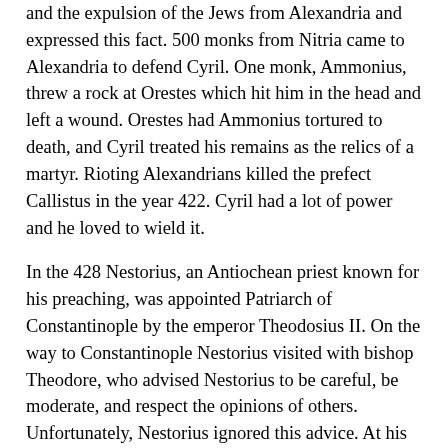and the expulsion of the Jews from Alexandria and expressed this fact. 500 monks from Nitria came to Alexandria to defend Cyril. One monk, Ammonius, threw a rock at Orestes which hit him in the head and left a wound. Orestes had Ammonius tortured to death, and Cyril treated his remains as the relics of a martyr. Rioting Alexandrians killed the prefect Callistus in the year 422. Cyril had a lot of power and he loved to wield it.
In the 428 Nestorius, an Antiochean priest known for his preaching, was appointed Patriarch of Constantinople by the emperor Theodosius II. On the way to Constantinople Nestorius visited with bishop Theodore, who advised Nestorius to be careful, be moderate, and respect the opinions of others. Unfortunately, Nestorius ignored this advice. At his consecration in April, 428, he shouted "Give me, O Emperor, the earth purged from heretics, and I will give you heaven!" He immediately went after the Arians, closing their only chapel and running them out of the city. However, it wasn't long before Nestorius himself was accused of heresy.
Nestorius Patriarch of Constantinople...